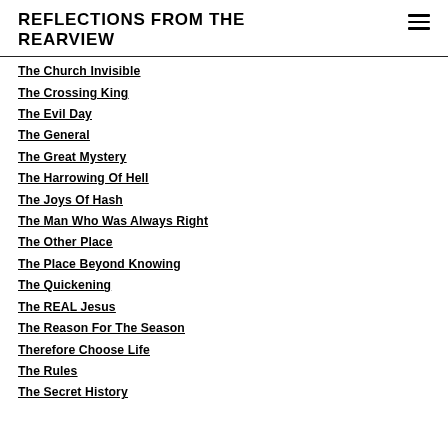REFLECTIONS FROM THE REARVIEW
The Church Invisible
The Crossing King
The Evil Day
The General
The Great Mystery
The Harrowing Of Hell
The Joys Of Hash
The Man Who Was Always Right
The Other Place
The Place Beyond Knowing
The Quickening
The REAL Jesus
The Reason For The Season
Therefore Choose Life
The Rules
The Secret History